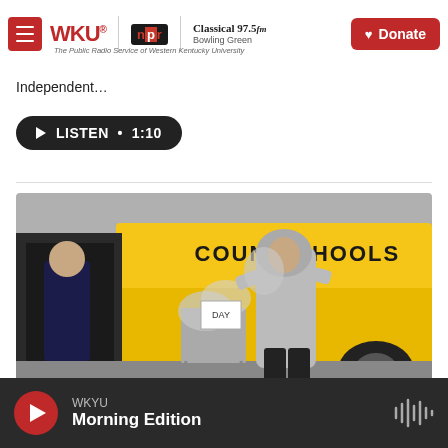WKU | NPR | Classical 97.5 fm Bowling Green — The Public Radio Service of Western Kentucky University | Donate
Independent…
LISTEN • 1:10
[Figure (photo): Person in a grey hoodie loading bags onto a cart next to a yellow school bus labeled 'COUNTY SCHOOLS']
WKYU — Morning Edition